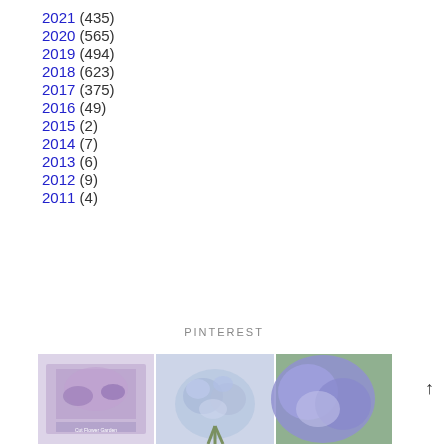2021 (435)
2020 (565)
2019 (494)
2018 (623)
2017 (375)
2016 (49)
2015 (2)
2014 (7)
2013 (6)
2012 (9)
2011 (4)
PINTEREST
[Figure (photo): Three side-by-side photos of purple/lavender flowers including a book cover, a bouquet, and a close-up of a sweet pea flower]